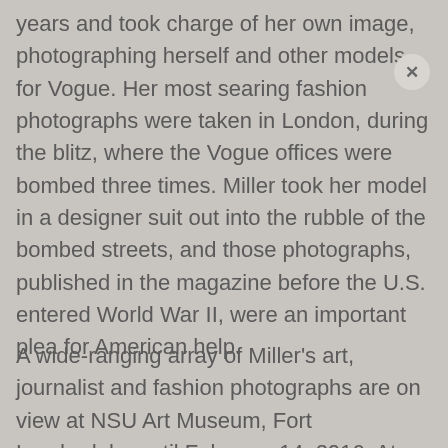years and took charge of her own image, photographing herself and other models for Vogue. Her most searing fashion photographs were taken in London, during the blitz, where the Vogue offices were bombed three times. Miller took her model in a designer suit out into the rubble of the bombed streets, and those photographs, published in the magazine before the U.S. entered World War II, were an important plea for American help.
A wide-ranging array of Miller's art, journalist and fashion photographs are on view at NSU Art Museum, Fort Lauderdale, until February 14, 2016. At the exhibit opening, Miller's son Antony Penrose and her granddaughter gave a frank and lyrical narrative of Miller's life, while a